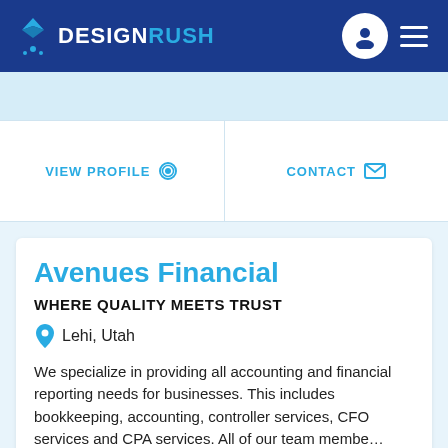DESIGNRUSH
VIEW PROFILE
CONTACT
Avenues Financial
WHERE QUALITY MEETS TRUST
Lehi, Utah
We specialize in providing all accounting and financial reporting needs for businesses. This includes bookkeeping, accounting, controller services, CFO services and CPA services. All of our team membe…
READ MORE
$1000 -